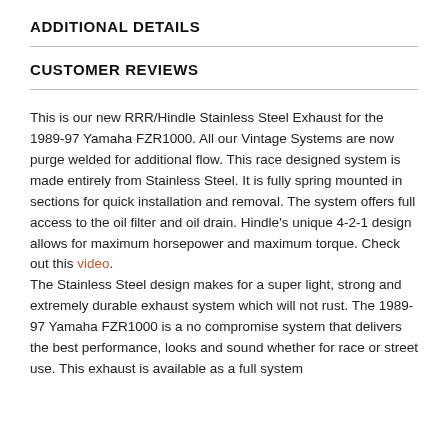ADDITIONAL DETAILS
CUSTOMER REVIEWS
This is our new RRR/Hindle Stainless Steel Exhaust for the 1989-97 Yamaha FZR1000. All our Vintage Systems are now purge welded for additional flow. This race designed system is made entirely from Stainless Steel. It is fully spring mounted in sections for quick installation and removal. The system offers full access to the oil filter and oil drain. Hindle's unique 4-2-1 design allows for maximum horsepower and maximum torque. Check out this video.
The Stainless Steel design makes for a super light, strong and extremely durable exhaust system which will not rust. The 1989-97 Yamaha FZR1000 is a no compromise system that delivers the best performance, looks and sound whether for race or street use. This exhaust is available as a full system